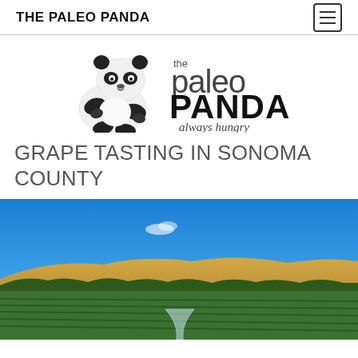THE PALEO PANDA
[Figure (logo): The Paleo Panda logo: a sitting black and white panda illustration on the left, and stylized text reading 'the paleo PANDA always hungry' on the right]
GRAPE TASTING IN SONOMA COUNTY
[Figure (photo): Outdoor vineyard landscape photo showing a bright blue sky, rolling golden hills, green trees and vineyard rows in the foreground, with a wine glass partially visible at the bottom center of the image]